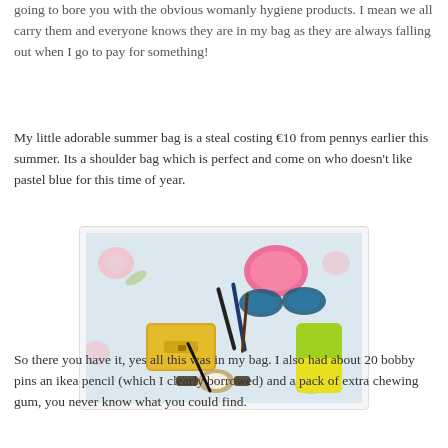going to bore you with the obvious womanly hygiene products. I mean we all carry them and everyone knows they are in my bag as they are always falling out when I go to pay for something!
My little adorable summer bag is a steal costing €10 from pennys earlier this summer. Its a shoulder bag which is perfect and come on who doesn't like pastel blue for this time of year.
[Figure (photo): Flat lay photo of bag contents including makeup, sunglasses, phone case, perfume, eyeliner, watch, and other items on a floral fabric background]
So there you have it, yes all this was in my bag. I also had about 20 bobby pins an ikea pencil (which I clearly borrowed) and a pack of extra chewing gum, you never know what you could find.